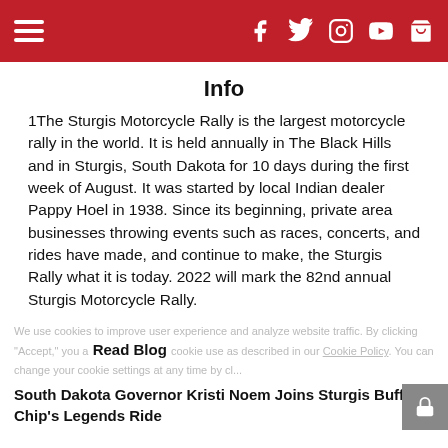Navigation header with hamburger menu and social icons (Facebook, Twitter, Instagram, YouTube, Cart)
Info
1The Sturgis Motorcycle Rally is the largest motorcycle rally in the world. It is held annually in The Black Hills and in Sturgis, South Dakota for 10 days during the first week of August. It was started by local Indian dealer Pappy Hoel in 1938. Since its beginning, private area businesses throwing events such as races, concerts, and rides have made, and continue to make, the Sturgis Rally what it is today. 2022 will mark the 82nd annual Sturgis Motorcycle Rally.
We use cookies to improve user experience and analyze website traffic. By clicking "Accept," you agree to our website's cookie use as described in our Cookie Policy. You can change your cookie settings at any time by cl...
Read Blog
South Dakota Governor Kristi Noem Joins Sturgis Buffalo Chip's Legends Ride